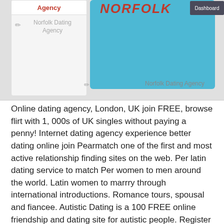[Figure (screenshot): Screenshot of Norfolk Dating Agency website showing a left panel with 'Agency' tab, a large blue panel, 'Norfolk' title in red italic, a 'Dashboard' button, a pencil icon, and 'Norfolk Dating Agency' text at the bottom.]
Online dating agency, London, UK join FREE, browse flirt with 1, 000s of UK singles without paying a penny! Internet dating agency experience better dating online join Pearmatch one of the first and most active relationship finding sites on the web. Per latin dating service to match Per women to men around the world. Latin women to marrry through international introductions. Romance tours, spousal and fiancee. Autistic Dating is a 100 FREE online friendship and dating site for autistic people. Register with us to find your perfect match. Me Ever wondered whether there are any Senior singles near you? Enter your postcode and start dating on your doorstep. Serbian Dating for Serbian Girls, Men, Women, Singles. Sign Up Now for Free Serbian Dating. Welcome Suffolk Cleaning Agency is located in Halesworth on the Norfolk Suffolk boarder. We provide professional and friendly housekeeping cleaning services at a... Get